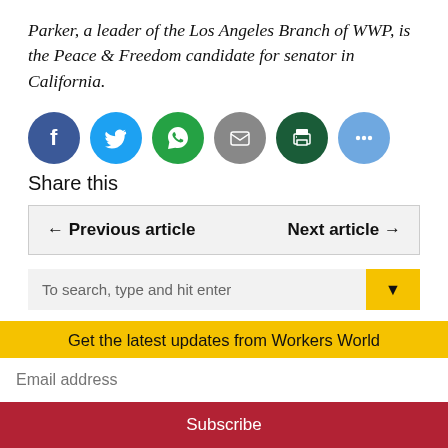Parker, a leader of the Los Angeles Branch of WWP, is the Peace & Freedom candidate for senator in California.
[Figure (infographic): Six social sharing icons in circles: Facebook (blue), Twitter (light blue), WhatsApp (green), Email (gray), Print (dark green), More/ellipsis (light blue)]
Share this
← Previous article   Next article →
To search, type and hit enter
Get the latest updates from Workers World
Email address
Subscribe